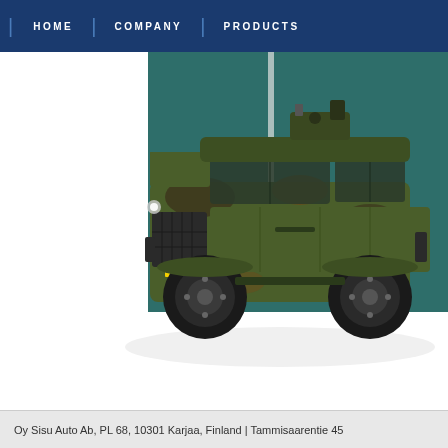HOME | COMPANY | PRODUCTS
[Figure (photo): Military armored vehicle (light tactical vehicle) in camouflage pattern (green/brown), displayed at what appears to be a trade show or exhibition with a teal/green backdrop. The vehicle has large off-road tires, a yellow license plate reading 'S906', and various military equipment mounted on top. Snow or white ground visible beneath.]
Oy Sisu Auto Ab, PL 68, 10301 Karjaa, Finland | Tammisaarentie 45